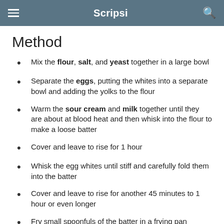Scripsi
Method
Mix the flour, salt, and yeast together in a large bowl
Separate the eggs, putting the whites into a separate bowl and adding the yolks to the flour
Warm the sour cream and milk together until they are about at blood heat and then whisk into the flour to make a loose batter
Cover and leave to rise for 1 hour
Whisk the egg whites until stiff and carefully fold them into the batter
Cover and leave to rise for another 45 minutes to 1 hour or even longer
Fry small spoonfuls of the batter in a frying pan